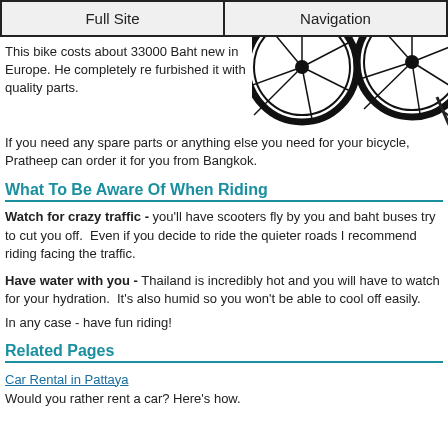Full Site | Navigation
This bike costs about 33000 Baht new in Europe. He completely re furbished it with quality parts.
[Figure (photo): Partial view of bicycle wheels from above, white background]
If you need any spare parts or anything else you need for your bicycle, Pratheep can order it for you from Bangkok.
What To Be Aware Of When Riding
Watch for crazy traffic - you'll have scooters fly by you and baht buses try to cut you off.  Even if you decide to ride the quieter roads I recommend riding facing the traffic.
Have water with you - Thailand is incredibly hot and you will have to watch for your hydration.  It's also humid so you won't be able to cool off easily.
In any case - have fun riding!
Related Pages
Car Rental in Pattaya
Would you rather rent a car? Here's how.